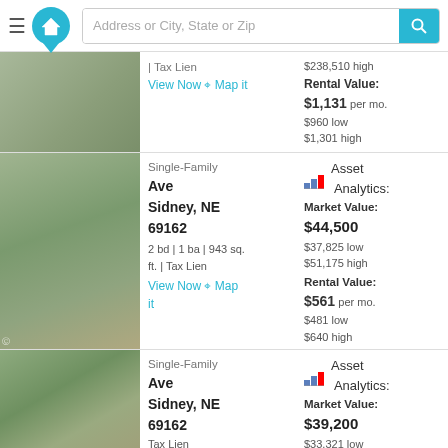Address or City, State or Zip
Tax Lien | View Now Map it | $238,510 high | Rental Value: $1,131 per mo. $960 low $1,301 high
Single-Family Ave Sidney, NE 69162 | 2 bd | 1 ba | 943 sq. ft. | Tax Lien | View Now Map it | Asset Analytics: Market Value: $44,500 $37,825 low $51,175 high | Rental Value: $561 per mo. $481 low $640 high
Single-Family Ave Sidney, NE 69162 | Tax Lien | Asset Analytics: Market Value: $39,200 $33,321 low